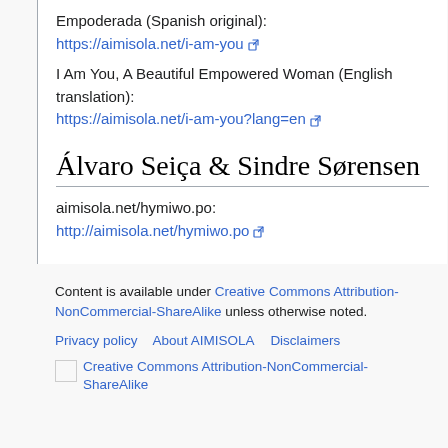Empoderada (Spanish original): https://aimisola.net/i-am-you
I Am You, A Beautiful Empowered Woman (English translation): https://aimisola.net/i-am-you?lang=en
Álvaro Seiça & Sindre Sørensen
aimisola.net/hymiwo.po: http://aimisola.net/hymiwo.po
Content is available under Creative Commons Attribution-NonCommercial-ShareAlike unless otherwise noted.
Privacy policy   About AIMISOLA   Disclaimers
Creative Commons Attribution-NonCommercial-ShareAlike